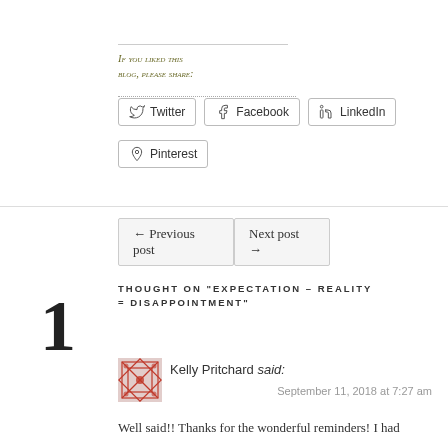If you liked this blog, please share:
[Figure (infographic): Social share buttons: Twitter, Facebook, LinkedIn, Pinterest]
[Figure (infographic): Navigation buttons: ← Previous post | Next post →]
1 THOUGHT ON "EXPECTATION – REALITY = DISAPPOINTMENT"
[Figure (illustration): Red geometric pattern avatar for Kelly Pritchard]
Kelly Pritchard said:
September 11, 2018 at 7:27 am
Well said!! Thanks for the wonderful reminders! I had